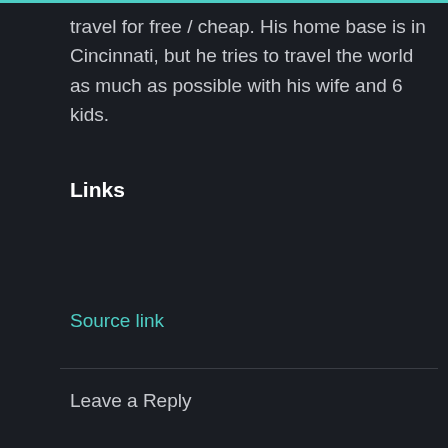travel for free / cheap. His home base is in Cincinnati, but he tries to travel the world as much as possible with his wife and 6 kids.
Links
Source link
Leave a Reply